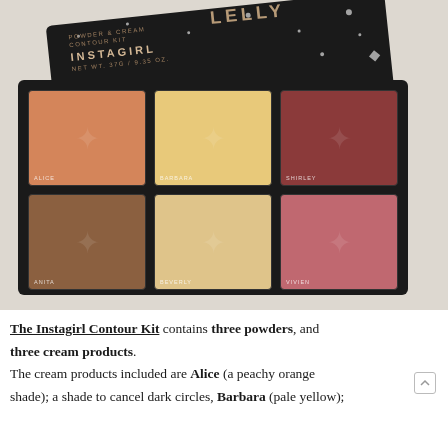[Figure (photo): Overhead photo of the Instagirl Powder & Cream Contour Kit palette open on a white linen background. The palette has a black star-printed lid with 'INSTAGIRL' branding and 6 makeup pans in two rows of three: top row left to right unlabeled peachy orange, unlabeled pale beige, unlabeled dark brown/mauve; bottom row labeled ANITA (medium brown), BARBARA/BEVERLY (pale yellow), SHIRLEY/VIVIEN (dusty rose). Each pan has a star emboss.]
The Instagirl Contour Kit contains three powders, and three cream products. The cream products included are Alice (a peachy orange shade); a shade to cancel dark circles, Barbara (pale yellow);